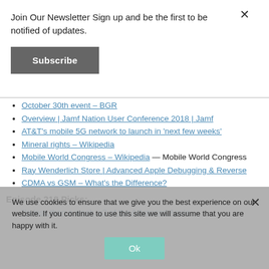Join Our Newsletter Sign up and be the first to be notified of updates.
Subscribe
October 30th event – BGR
Overview | Jamf Nation User Conference 2018 | Jamf
AT&T's mobile 5G network to launch in 'next few weeks'
Mineral rights – Wikipedia
Mobile World Congress – Wikipedia — Mobile World Congress
Ray Wenderlich Store | Advanced Apple Debugging & Reverse
CDMA vs GSM – What's the Difference?
Episode 218 Picks:
“In less than a week, v3 of the Advanced Apple
We use cookies to ensure that we give you the best experience on our website. If you continue to use this site we will assume that you are happy with it.
Ok